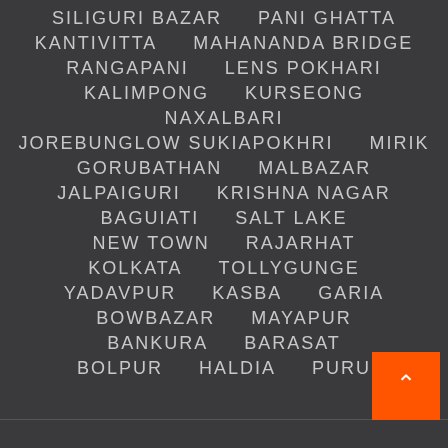SILIGURI BAZAR  PANI GHATTA
KANTIVITTA  MAHANANDA BRIDGE
RANGAPANI  LENS POKHARI
KALIMPONG  KURSEONG
NAXALBARI
JOREBUNGLOW SUKIAPOKHRI  MIRIK
GORUBATHAN  MALBAZAR
JALPAIGURI  KRISHNA NAGAR
BAGUIATI  SALT LAKE
NEW TOWN  RAJARHAT
KOLKATA  TOLLYGUNGE
YADAVPUR  KASBA  GARIA
BOWBAZAR  MAYAPUR
BANKURA  BARASAT
BOLPUR  HALDIA  PURU...